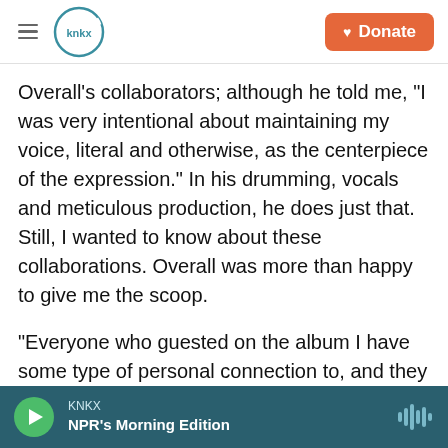KNKX | Donate
Overall's collaborators; although he told me, "I was very intentional about maintaining my voice, literal and otherwise, as the centerpiece of the expression." In his drumming, vocals and meticulous production, he does just that. Still, I wanted to know about these collaborations. Overall was more than happy to give me the scoop.
"Everyone who guested on the album I have some type of personal connection to, and they all have an energy that is special and strong.  When I thought about getting someone on a track, I was thinking 'I would love this person's energy on here,'" says
KNKX
NPR's Morning Edition